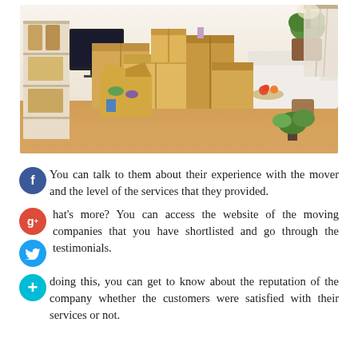[Figure (photo): A living room with many cardboard moving boxes stacked and open, a white sofa in background, shelving unit on left, plant on right]
You can talk to them about their experience with the mover and the level of the services that they provided.
What's more? You can access the website of the moving companies that you have shortlisted and go through the testimonials.
By doing this, you can get to know about the reputation of the company whether the customers were satisfied with their services or not.